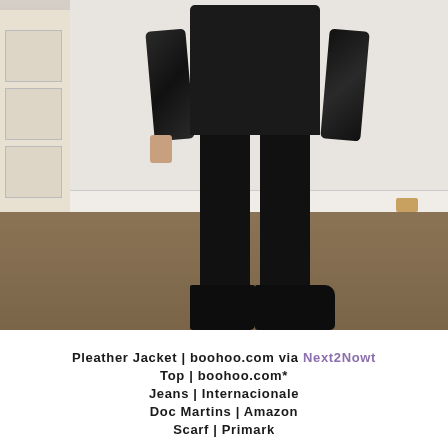[Figure (photo): A person wearing a black pleather jacket, black top with animal print scarf, black skinny jeans, and black Doc Martens boots, standing against a white wall with a light wood dresser on the left and brown carpet floor.]
Pleather Jacket | boohoo.com via Next2Nowt
Top | boohoo.com*
Jeans | Internacionale
Doc Martins | Amazon
Scarf | Primark